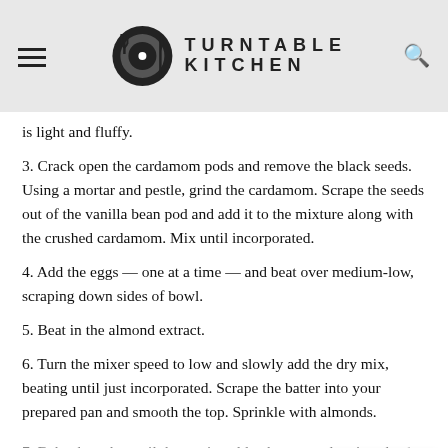TURNTABLE KITCHEN
is light and fluffy.
3. Crack open the cardamom pods and remove the black seeds. Using a mortar and pestle, grind the cardamom. Scrape the seeds out of the vanilla bean pod and add it to the mixture along with the crushed cardamom. Mix until incorporated.
4. Add the eggs — one at a time — and beat over medium-low, scraping down sides of bowl.
5. Beat in the almond extract.
6. Turn the mixer speed to low and slowly add the dry mix, beating until just incorporated. Scrape the batter into your prepared pan and smooth the top. Sprinkle with almonds.
7. Bake the cake until the top is golden brown and springs back when gently pressed and a tester inserted into the center comes out clean.